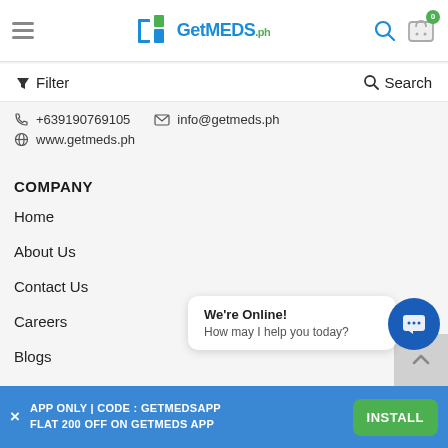GetMEDS.ph
Filter  Search
+639190769105  info@getmeds.ph  www.getmeds.ph
COMPANY
Home
About Us
Contact Us
Careers
Blogs
Refer & Earn
We're Online!
How may I help you today?
APP ONLY | CODE : GETMEDSAPP
FLAT 200 OFF ON GETMEDS APP
INSTALL